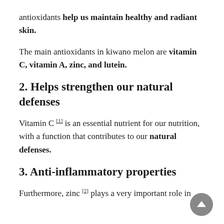antioxidants help us maintain healthy and radiant skin.
The main antioxidants in kiwano melon are vitamin C, vitamin A, zinc, and lutein.
2. Helps strengthen our natural defenses
Vitamin C [1] is an essential nutrient for our nutrition, with a function that contributes to our natural defenses.
3. Anti-inflammatory properties
Furthermore, zinc [2] plays a very important role in our diet by its antioxidant production...